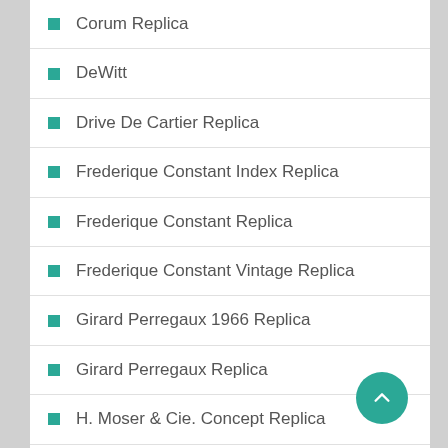Corum Replica
DeWitt
Drive De Cartier Replica
Frederique Constant Index Replica
Frederique Constant Replica
Frederique Constant Vintage Replica
Girard Perregaux 1966 Replica
Girard Perregaux Replica
H. Moser & Cie. Concept Replica
H. Moser & Cie. Replica